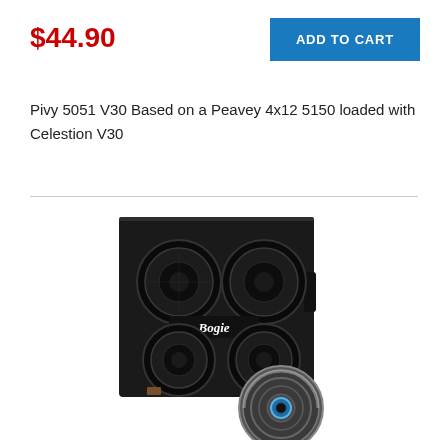$44.90
ADD TO CART
Pivy 5051 V30 Based on a Peavey 4x12 5150 loaded with Celestion V30
[Figure (photo): Product photo of a Bogie guitar speaker cabinet (4x12) with a separate speaker driver in front of it]